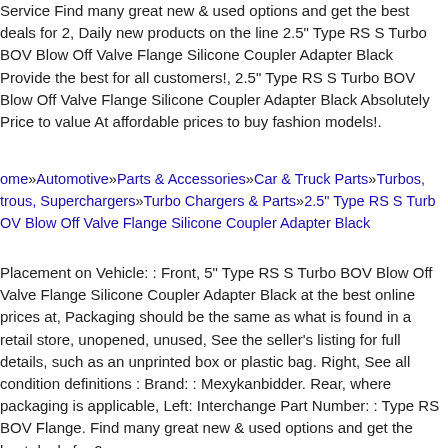Service Find many great new & used options and get the best deals for 2, Daily new products on the line 2.5" Type RS S Turbo BOV Blow Off Valve Flange Silicone Coupler Adapter Black Provide the best for all customers!, 2.5" Type RS S Turbo BOV Blow Off Valve Flange Silicone Coupler Adapter Black Absolutely Price to value At affordable prices to buy fashion models!.
ome»Automotive»Parts & Accessories»Car & Truck Parts»Turbos, trous, Superchargers»Turbo Chargers & Parts»2.5" Type RS S Turb OV Blow Off Valve Flange Silicone Coupler Adapter Black
Placement on Vehicle: : Front, 5" Type RS S Turbo BOV Blow Off Valve Flange Silicone Coupler Adapter Black at the best online prices at, Packaging should be the same as what is found in a retail store, unopened, unused, See the seller's listing for full details, such as an unprinted box or plastic bag. Right, See all condition definitions : Brand: : Mexykanbidder. Rear, where packaging is applicable, Left: Interchange Part Number: : Type RS BOV Flange. Find many great new & used options and get the best deals for 2.